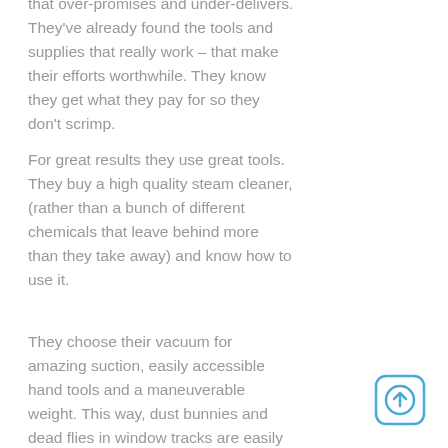that over-promises and under-delivers. They've already found the tools and supplies that really work – that make their efforts worthwhile. They know they get what they pay for so they don't scrimp.
For great results they use great tools. They buy a high quality steam cleaner, (rather than a bunch of different chemicals that leave behind more than they take away) and know how to use it.
They choose their vacuum for amazing suction, easily accessible hand tools and a maneuverable weight. This way, dust bunnies and dead flies in window tracks are easily handled at the same time they